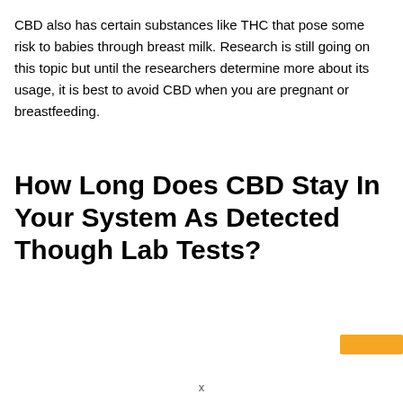CBD also has certain substances like THC that pose some risk to babies through breast milk. Research is still going on this topic but until the researchers determine more about its usage, it is best to avoid CBD when you are pregnant or breastfeeding.
How Long Does CBD Stay In Your System As Detected Though Lab Tests?